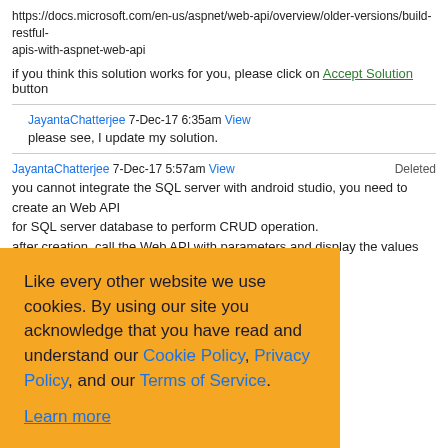https://docs.microsoft.com/en-us/aspnet/web-api/overview/older-versions/build-restful-apis-with-aspnet-web-api
if you think this solution works for you, please click on Accept Solution button
JayantaChatterjee 7-Dec-17 6:35am View
please see, I update my solution.
JayantaChatterjee 7-Dec-17 5:57am View Deleted
you cannot integrate the SQL server with android studio, you need to create an Web API for SQL server database to perform CRUD operation.
after creation, call the Web API with parameters and display the values on your
[Figure (screenshot): Cookie consent banner with orange background. Text: 'Like every other website we use cookies. By using our site you acknowledge that you have read and understand our Cookie Policy, Privacy Policy, and our Terms of Service. Learn more'. Buttons: 'Ask me later', 'Decline', 'Allow cookies'.]
You are welcome...